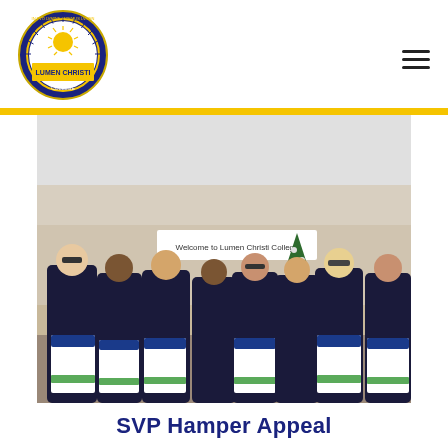[Figure (logo): Lumen Christi College circular logo with latin text around the border and a sunburst design]
[Figure (photo): Group of students in school uniforms (blazers and ties) standing in a school reception area with a Christmas tree, each holding certificates. A banner reading 'Welcome to Lumen Christi College' is visible in the background.]
SVP Hamper Appeal